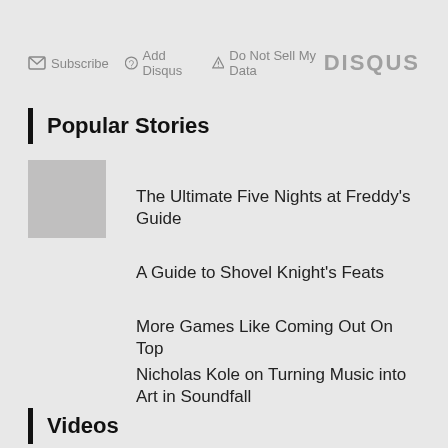Subscribe  Add Disqus  Do Not Sell My Data  DISQUS
Popular Stories
The Ultimate Five Nights at Freddy's Guide
A Guide to Shovel Knight's Feats
More Games Like Coming Out On Top
Nicholas Kole on Turning Music into Art in Soundfall
Videos